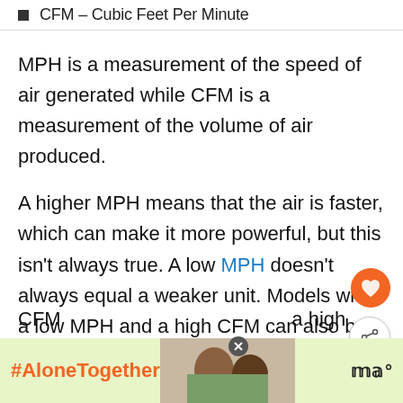CFM – Cubic Feet Per Minute
MPH is a measurement of the speed of air generated while CFM is a measurement of the volume of air produced.
A higher MPH means that the air is faster, which can make it more powerful, but this isn't always true. A low MPH doesn't always equal a weaker unit. Models with a low MPH and a high CFM can also be very powerful at clearing more you're looking for a powerful unit, then a higher CFM … a high